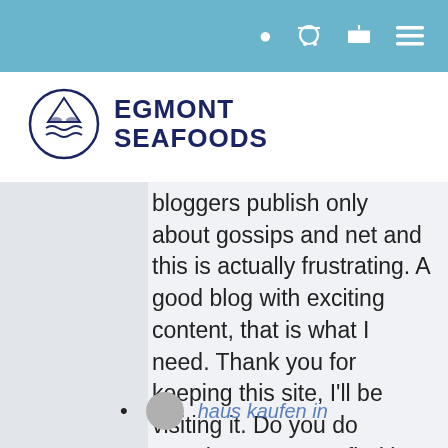Navigation bar with user, cart, and menu icons
[Figure (logo): Egmont Seafoods logo: circular badge with fish and waves illustration, next to bold text 'EGMONT SEAFOODS' in dark navy blue]
bloggers publish only about gossips and net and this is actually frustrating. A good blog with exciting content, that is what I need. Thank you for keeping this site, I'll be visiting it. Do you do newsletters? Can't find it.
haus kaufen in